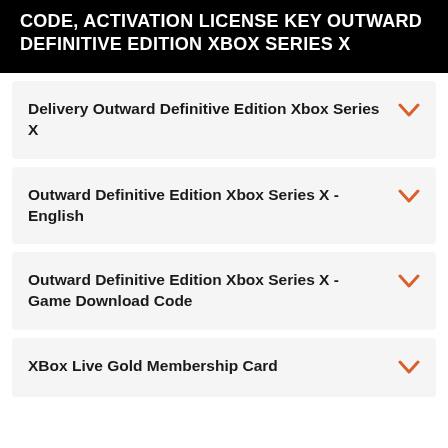CODE, ACTIVATION LICENSE KEY OUTWARD DEFINITIVE EDITION XBOX SERIES X
Delivery Outward Definitive Edition Xbox Series X
Outward Definitive Edition Xbox Series X - English
Outward Definitive Edition Xbox Series X - Game Download Code
XBox Live Gold Membership Card